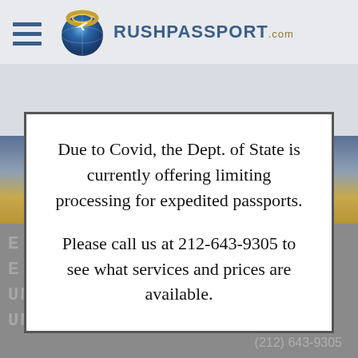[Figure (screenshot): RushPassport.com website header with hamburger menu icon, globe logo, and site branding]
Due to Covid, the Dept. of State is currently offering limiting processing for expedited passports.

Please call us at 212-643-9305 to see what services and prices are available.